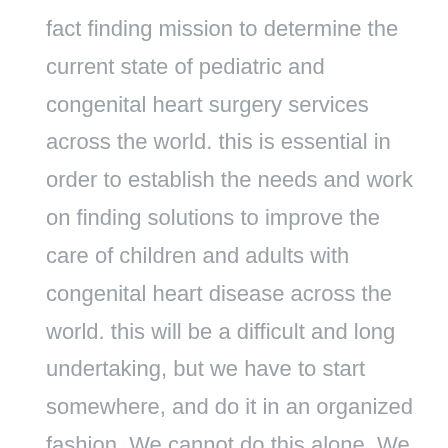fact finding mission to determine the current state of pediatric and congenital heart surgery services across the world. this is essential in order to establish the needs and work on finding solutions to improve the care of children and adults with congenital heart disease across the world. this will be a difficult and long undertaking, but we have to start somewhere, and do it in an organized fashion. We cannot do this alone. We need to work with our partners from the related specialties dealing with the treatment of pediatric and congenital heart disease. We will need the cooperation of everyone. At the last meeting of the governing council in geneva, we have accepted the first research fellow of the World Society, to help gather the necessary information from across the world. His